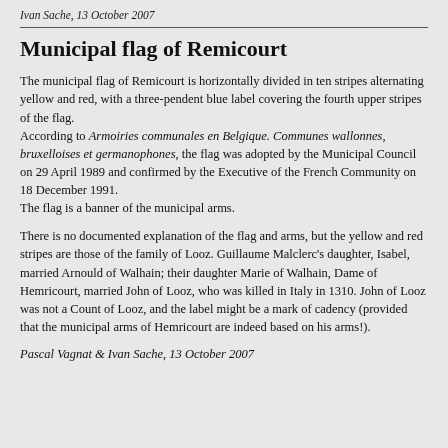Ivan Sache, 13 October 2007
Municipal flag of Remicourt
The municipal flag of Remicourt is horizontally divided in ten stripes alternating yellow and red, with a three-pendent blue label covering the fourth upper stripes of the flag.
According to Armoiries communales en Belgique. Communes wallonnes, bruxelloises et germanophones, the flag was adopted by the Municipal Council on 29 April 1989 and confirmed by the Executive of the French Community on 18 December 1991.
The flag is a banner of the municipal arms.
There is no documented explanation of the flag and arms, but the yellow and red stripes are those of the family of Looz. Guillaume Malclerc's daughter, Isabel, married Arnould of Walhain; their daughter Marie of Walhain, Dame of Hemricourt, married John of Looz, who was killed in Italy in 1310. John of Looz was not a Count of Looz, and the label might be a mark of cadency (provided that the municipal arms of Hemricourt are indeed based on his arms!).
Pascal Vagnat & Ivan Sache, 13 October 2007